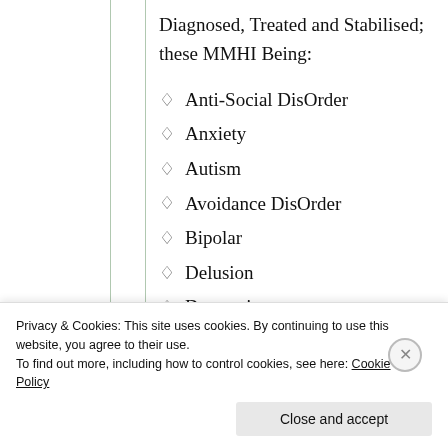Diagnosed, Treated and Stabilised; these MMHI Being:
Anti-Social DisOrder
Anxiety
Autism
Avoidance DisOrder
Bipolar
Delusion
Depression
Privacy & Cookies: This site uses cookies. By continuing to use this website, you agree to their use. To find out more, including how to control cookies, see here: Cookie Policy
Close and accept